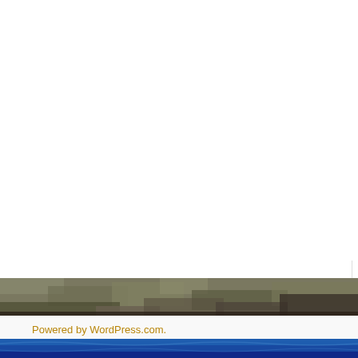Search
Log in
Entries feed
Comments feed
WordPress.org
Hit Co...
869,57...
RSS
RSS...
Powered by WordPress.com.